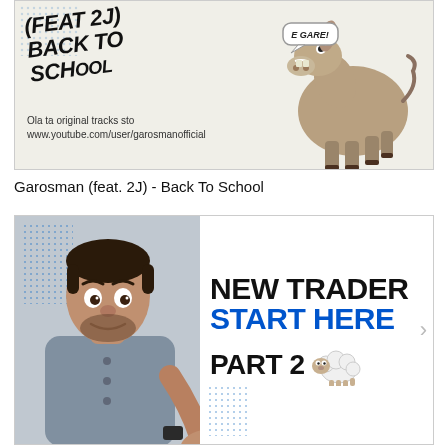[Figure (illustration): Thumbnail image showing a donkey with a speech bubble saying 'E GARE!' and stylized text '(FEAT 2J) BACK TO SCHOOL' with URL text 'Ola ta original tracks sto www.youtube.com/user/garosmanofficial']
Garosman (feat. 2J) - Back To School
[Figure (illustration): YouTube video thumbnail showing a man with surprised expression on the left, and bold text on the right: 'NEW TRADER START HERE PART 2' with a sheep cartoon icon. Blue and black text on white background with dotted decorative elements.]